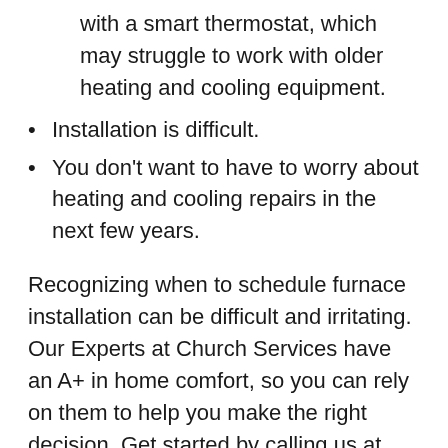with a smart thermostat, which may struggle to work with older heating and cooling equipment.
Installation is difficult.
You don’t want to have to worry about heating and cooling repairs in the next few years.
Recognizing when to schedule furnace installation can be difficult and irritating. Our Experts at Church Services have an A+ in home comfort, so you can rely on them to help you make the right decision. Get started by calling us at 713-396-3760 to request your free home comfort assessment today!